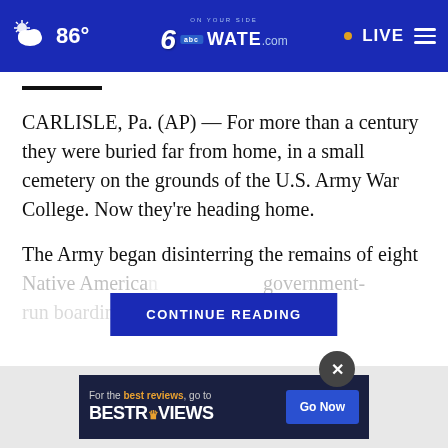86° WATE.com | LIVE
CARLISLE, Pa. (AP) — For more than a century they were buried far from home, in a small cemetery on the grounds of the U.S. Army War College. Now they're heading home.
The Army began disinterring the remains of eight Native America… government-run boarding s… with the…
CONTINUE READING
[Figure (screenshot): Advertisement banner: For the best reviews, go to BESTREVIEWS with Go Now button]